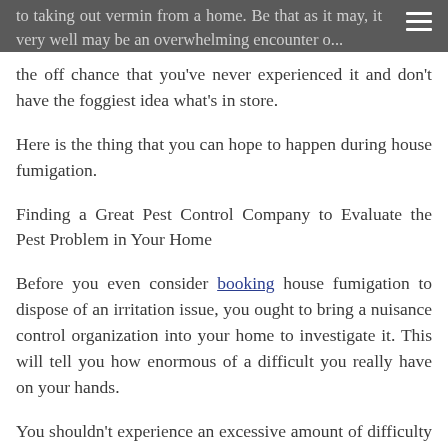to taking out vermin from a home. Be that as it may, it very well may be an overwhelming encounter on...
the off chance that you’ve never experienced it and don’t have the foggiest idea what’s in store.
Here is the thing that you can hope to happen during house fumigation.
Finding a Great Pest Control Company to Evaluate the Pest Problem in Your Home
Before you even consider booking house fumigation to dispose of an irritation issue, you ought to bring a nuisance control organization into your home to investigate it. This will tell you how enormous of a difficult you really have on your hands.
You shouldn’t experience an excessive amount of difficulty finding a dependable irritation control